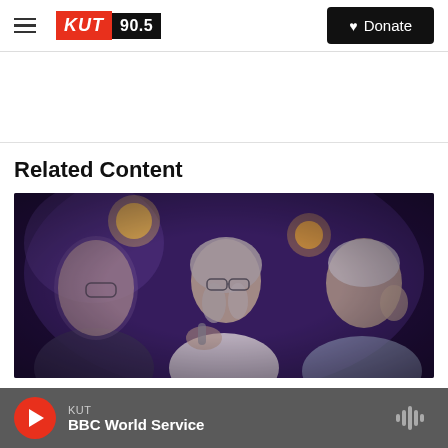KUT 90.5 — Donate
Related Content
[Figure (photo): Three people seated at a panel table under purple stage lighting. A young man with glasses is on the left, an older woman with glasses in the center, and an older man on the right.]
KUT — BBC World Service (player bar)